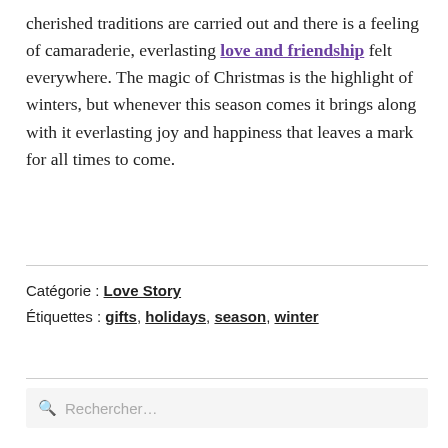cherished traditions are carried out and there is a feeling of camaraderie, everlasting love and friendship felt everywhere. The magic of Christmas is the highlight of winters, but whenever this season comes it brings along with it everlasting joy and happiness that leaves a mark for all times to come.
Catégorie : Love Story
Étiquettes : gifts, holidays, season, winter